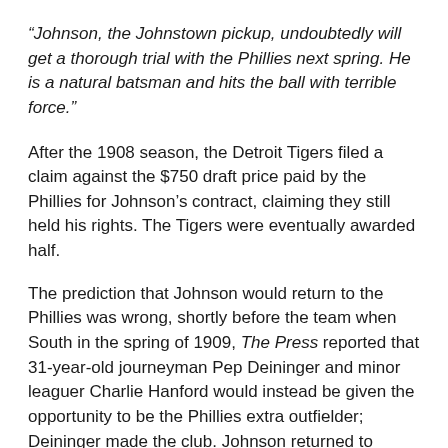“Johnson, the Johnstown pickup, undoubtedly will get a thorough trial with the Phillies next spring. He is a natural batsman and hits the ball with terrible force.”
After the 1908 season, the Detroit Tigers filed a claim against the $750 draft price paid by the Phillies for Johnson’s contract, claiming they still held his rights. The Tigers were eventually awarded half.
The prediction that Johnson would return to the Phillies was wrong, shortly before the team when South in the spring of 1909, The Press reported that 31-year-old journeyman Pep Deininger and minor leaguer Charlie Hanford would instead be given the opportunity to be the Phillies extra outfielder; Deininger made the club. Johnson returned to Johnstown.